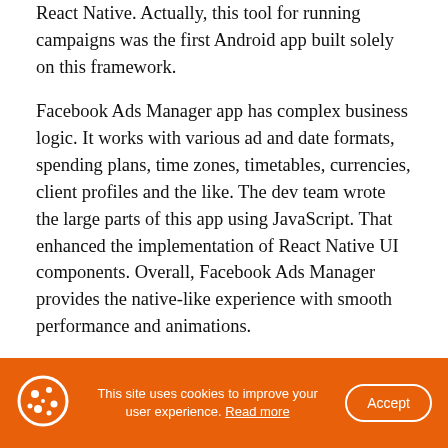React Native. Actually, this tool for running campaigns was the first Android app built solely on this framework.
Facebook Ads Manager app has complex business logic. It works with various ad and date formats, spending plans, time zones, timetables, currencies, client profiles and the like. The dev team wrote the large parts of this app using JavaScript. That enhanced the implementation of React Native UI components. Overall, Facebook Ads Manager provides the native-like experience with smooth performance and animations.
This site uses cookies to improve your user experience. Read more